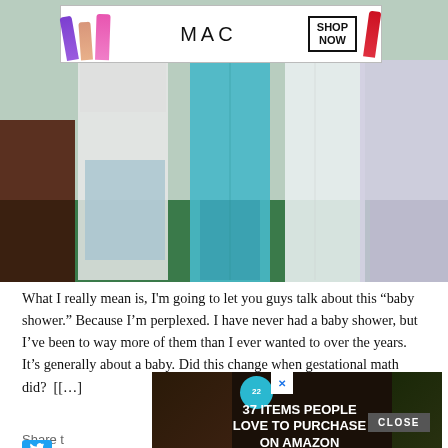[Figure (photo): Advertisement banner for MAC cosmetics showing lipsticks in purple, nude, and pink with MAC logo and 'SHOP NOW' button, and a red lipstick on the right side]
[Figure (photo): Photo of several dresses hanging — white lace, light blue/teal, and white/lavender gowns on a green carpet, with a person's arm visible at left]
What I really mean is, I'm going to let you guys talk about this “baby shower.” Because I’m perplexed. I have never had a baby shower, but I’ve been to way more of them than I ever wanted to over the years. It’s generally about a baby. Did this change when gestational math did? [[…]
[Figure (advertisement): Dark advertisement overlay showing '22' badge, '37 ITEMS PEOPLE LOVE TO PURCHASE ON AMAZON' text on dark background with food/kitchen imagery, with X close button and CLOSE button]
Share t